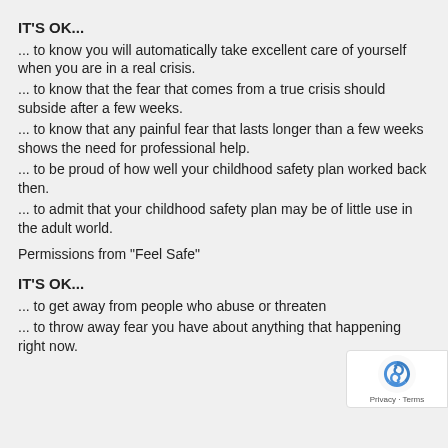IT'S OK...
... to know you will automatically take excellent care of yourself when you are in a real crisis.
... to know that the fear that comes from a true crisis should subside after a few weeks.
... to know that any painful fear that lasts longer than a few weeks shows the need for professional help.
... to be proud of how well your childhood safety plan worked back then.
... to admit that your childhood safety plan may be of little use in the adult world.
Permissions from "Feel Safe"
IT'S OK...
... to get away from people who abuse or threaten
... to throw away fear you have about anything that happening right now.